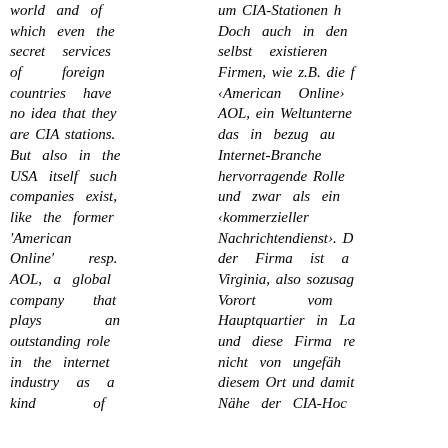world and of which even the secret services of foreign countries have no idea that they are CIA stations. But also in the USA itself such companies exist, like the former 'American Online' resp. AOL, a global company that plays an outstanding role in the internet industry as a kind of
um CIA-Stationen h Doch auch in den selbst existieren Firmen, wie z.B. die f ‹American Online› AOL, ein Weltunterne das in bezug au Internet-Branche hervorragende Rolle und zwar als ein ‹kommerzieller Nachrichtendienst›. D der Firma ist a Virginia, also sozusag Vorort vom Hauptquartier in La und diese Firma re nicht von ungefäh diesem Ort und damit Nähe der CIA-Hoc D i l S